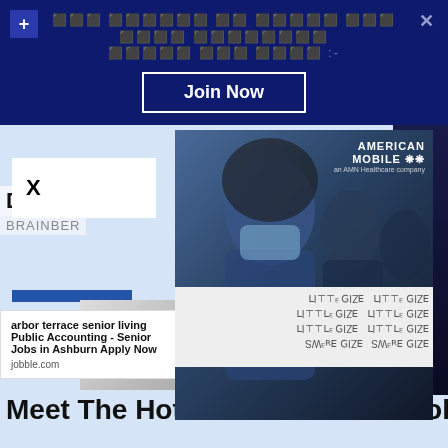[Figure (screenshot): Dark blue top banner with Hindi/decorative text, a 'Join Now' button with white border, plus icon top-left, and X close button top-right]
[Figure (infographic): American Mobile healthcare company advertisement showing nurses wearing masks with text 'TELEMETRY NURSES NEEDED APPLY TODAY' overlaid on photo]
Divine D
BRAINBER
X
arbor terrace senior living
Public Accounting - Senior Jobs in Ashburn Apply Now
jobble.com
Meet The Hottest Plus Size TikTokers Of The